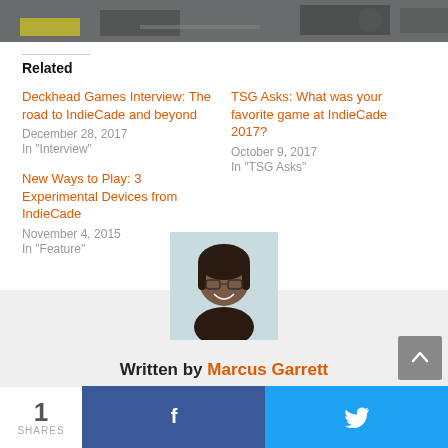[Figure (photo): Partial photo of people at desks/event, cropped at top of page]
Related
Deckhead Games Interview: The road to IndieCade and beyond
December 28, 2017
In "Interview"
TSG Asks: What was your favorite game at IndieCade 2017?
October 9, 2017
In "TSG Asks"
New Ways to Play: 3 Experimental Devices from IndieCade
November 4, 2015
In "Feature"
[Figure (photo): Author headshot photo of Marcus Garrett]
Written by Marcus Garrett